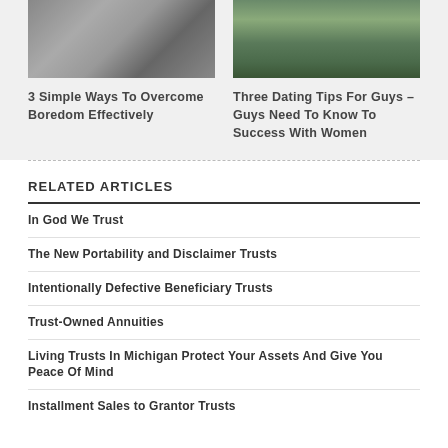[Figure (photo): Person writing at desk with notebook and computer]
3 Simple Ways To Overcome Boredom Effectively
[Figure (photo): Person hiking on a trail through green hillside]
Three Dating Tips For Guys – Guys Need To Know To Success With Women
RELATED ARTICLES
In God We Trust
The New Portability and Disclaimer Trusts
Intentionally Defective Beneficiary Trusts
Trust-Owned Annuities
Living Trusts In Michigan Protect Your Assets And Give You Peace Of Mind
Installment Sales to Grantor Trusts